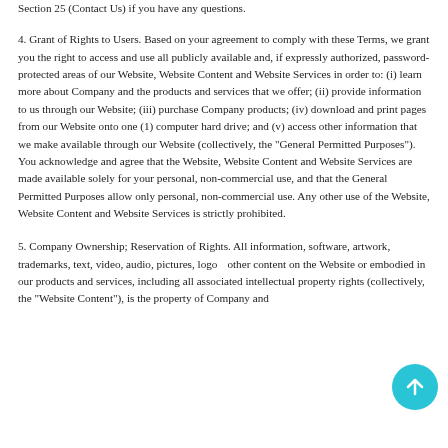Section 25 (Contact Us) if you have any questions.
4. Grant of Rights to Users. Based on your agreement to comply with these Terms, we grant you the right to access and use all publicly available and, if expressly authorized, password-protected areas of our Website, Website Content and Website Services in order to: (i) learn more about Company and the products and services that we offer; (ii) provide information to us through our Website; (iii) purchase Company products; (iv) download and print pages from our Website onto one (1) computer hard drive; and (v) access other information that we make available through our Website (collectively, the "General Permitted Purposes"). You acknowledge and agree that the Website, Website Content and Website Services are made available solely for your personal, non-commercial use, and that the General Permitted Purposes allow only personal, non-commercial use. Any other use of the Website, Website Content and Website Services is strictly prohibited.
5. Company Ownership; Reservation of Rights. All information, software, artwork, trademarks, text, video, audio, pictures, logos, other content on the Website or embodied in our products and services, including all associated intellectual property rights (collectively, the "Website Content"), is the property of Company and